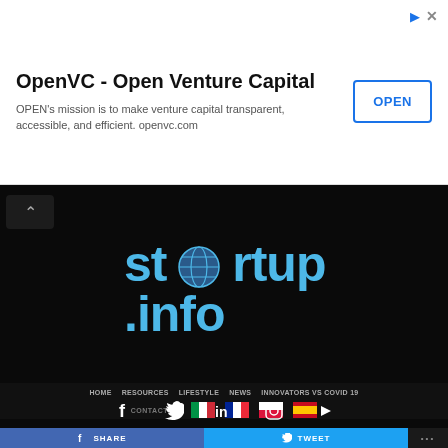[Figure (screenshot): OpenVC ad banner with title, description, and OPEN button]
OpenVC - Open Venture Capital
OPEN's mission is to make venture capital transparent, accessible, and efficient. openvc.com
[Figure (logo): startup.info logo in blue text on black background]
[Figure (infographic): Social media icons row: Facebook, Twitter, LinkedIn, Instagram, YouTube]
HOME   RESOURCES   LIFESTYLE   NEWS   INNOVATORS VS COVID 19
CONTACT US with Italian, French, Polish, Spanish flags
SHARE   TWEET   ...